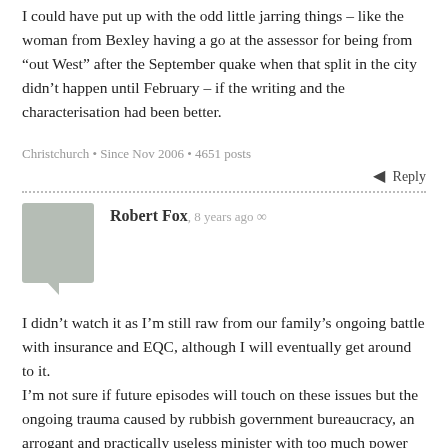I could have put up with the odd little jarring things – like the woman from Bexley having a go at the assessor for being from “out West” after the September quake when that split in the city didn't happen until February – if the writing and the characterisation had been better.
Christchurch • Since Nov 2006 • 4651 posts
Reply
Robert Fox, 8 years ago ∞
I didn’t watch it as I’m still raw from our family’s ongoing battle with insurance and EQC, although I will eventually get around to it.
I’m not sure if future episodes will touch on these issues but the ongoing trauma caused by rubbish government bureaucracy, an arrogant and practically useless minister with too much power and the appalling behaviour of venal insurance companies and EQC is a story that needs to be told